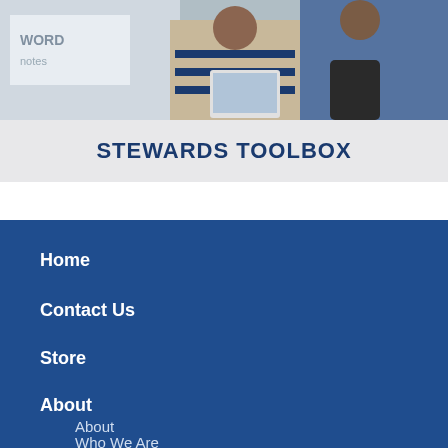[Figure (photo): Photograph of people in a meeting or classroom setting, showing individuals with a whiteboard and a laptop/tablet.]
STEWARDS TOOLBOX
Home
Contact Us
Store
About
About
Who We Are